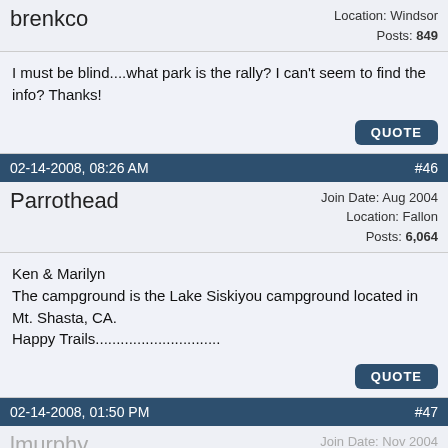brenkco
Location: Windsor
Posts: 849
I must be blind....what park is the rally? I can't seem to find the info? Thanks!
QUOTE
02-14-2008, 08:26 AM   #46
Parrothead
Join Date: Aug 2004
Location: Fallon
Posts: 6,064
Ken & Marilyn
The campground is the Lake Siskiyou campground located in Mt. Shasta, CA.
Happy Trails..............................
QUOTE
02-14-2008, 01:50 PM   #47
lmurphy
Join Date: Nov 2004
Location: Marysville
Posts: 98